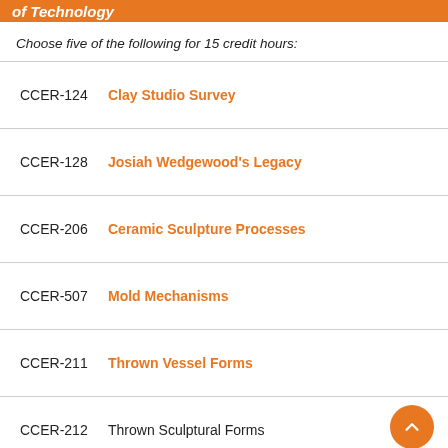of Technology
Choose five of the following for 15 credit hours:
CCER-124   Clay Studio Survey
CCER-128   Josiah Wedgewood's Legacy
CCER-206   Ceramic Sculpture Processes
CCER-507   Mold Mechanisms
CCER-211   Thrown Vessel Forms
CCER-212   Thrown Sculptural Forms